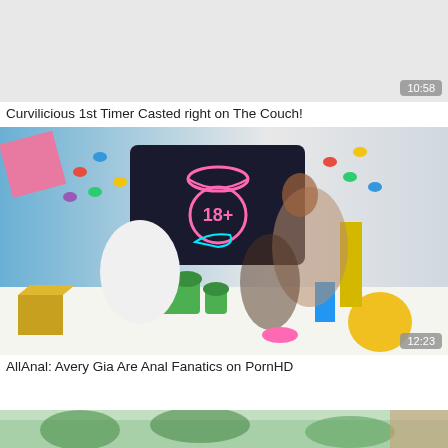[Figure (photo): Partial video thumbnail at top of page, gray background, duration badge showing 10:58]
Curvilicious 1st Timer Casted right on The Couch!
[Figure (photo): Video thumbnail showing two women in a colorful room with neon sign reading 18+, duration badge showing 12:23]
AllAnal: Avery Gia Are Anal Fanatics on PornHD
[Figure (photo): Partial video thumbnail at bottom of page, partially visible]